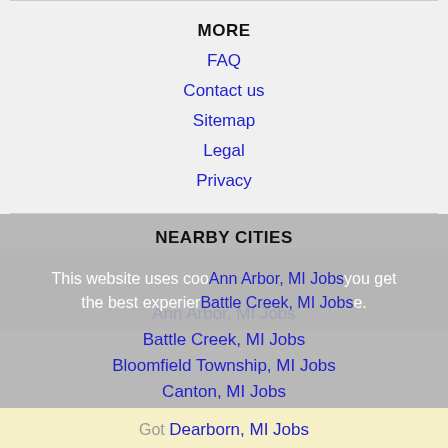MORE
FAQ
Contact us
Sitemap
Legal
Privacy
NEARBY CITIES
This website uses cookies to ensure you get the best experience on our website.
Ann Arbor, MI Jobs
Battle Creek, MI Jobs
Bloomfield Township, MI Jobs
Canton, MI Jobs
Dearborn, MI Jobs
Detroit, MI Jobs
East Lake, FL Jobs